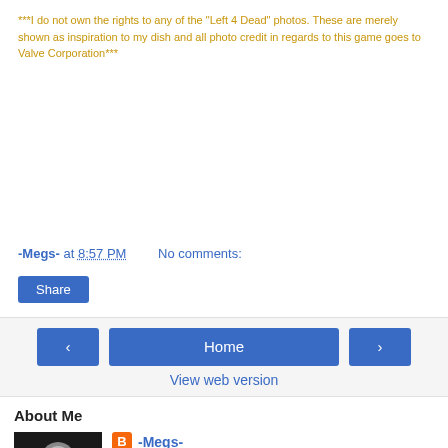***I do not own the rights to any of the "Left 4 Dead" photos. These are merely shown as inspiration to my dish and all photo credit in regards to this game goes to Valve Corporation***
-Megs- at 8:57 PM   No comments:
Share
‹  Home  ›
View web version
About Me
[Figure (photo): Black and white photo of a woman smiling]
B -Megs-
I'M AN: Actor, Fit Model, Fashion Fiend, Blogger, Singer, Hair Model, Gamer, Foodie, Adventurer,